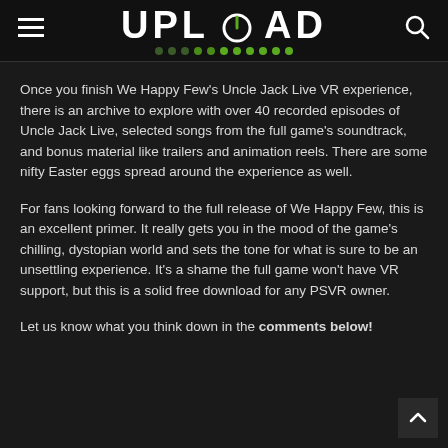UPLOAD
Once you finish We Happy Few's Uncle Jack Live VR experience, there is an archive to explore with over 40 recorded episodes of Uncle Jack Live, selected songs from the full game's soundtrack, and bonus material like trailers and animation reels. There are some nifty Easter eggs spread around the experience as well.
For fans looking forward to the full release of We Happy Few, this is an excellent primer. It really gets you in the mood of the game's chilling, dystopian world and sets the tone for what is sure to be an unsettling experience. It's a shame the full game won't have VR support, but this is a solid free download for any PSVR owner.
Let us know what you think down in the comments below!